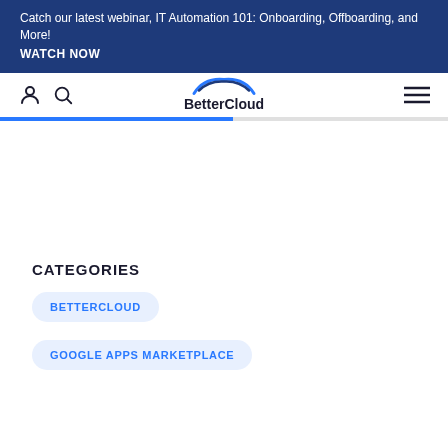Catch our latest webinar, IT Automation 101: Onboarding, Offboarding, and More! WATCH NOW
[Figure (logo): BetterCloud logo with stylized cloud arc above text]
CATEGORIES
BETTERCLOUD
GOOGLE APPS MARKETPLACE